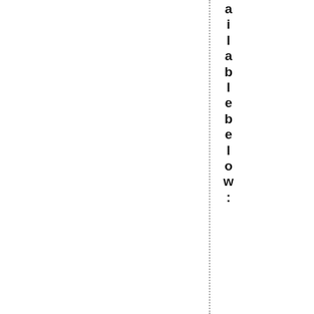available below:
[Figure (other): Share buttons for Email, Facebook, and Twitter with icons]
u
:
: